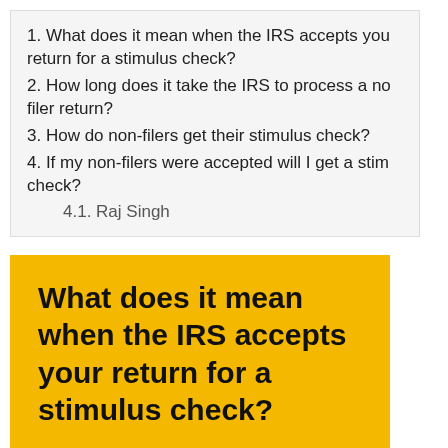1. What does it mean when the IRS accepts your return for a stimulus check?
2. How long does it take the IRS to process a non-filer return?
3. How do non-filers get their stimulus check?
4. If my non-filers were accepted will I get a stimulus check?
4.1. Raj Singh
What does it mean when the IRS accepts your return for a stimulus check?